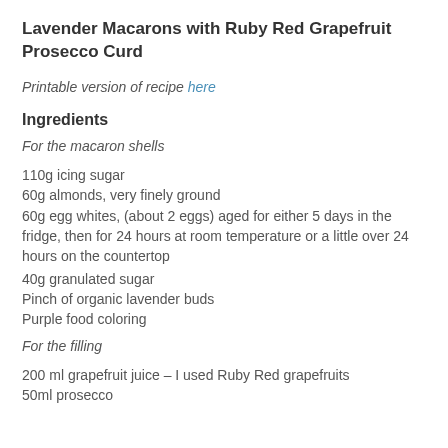Lavender Macarons with Ruby Red Grapefruit Prosecco Curd
Printable version of recipe here
Ingredients
For the macaron shells
110g icing sugar
60g almonds, very finely ground
60g egg whites, (about 2 eggs) aged for either 5 days in the fridge, then for 24 hours at room temperature or a little over 24 hours on the countertop
40g granulated sugar
Pinch of organic lavender buds
Purple food coloring
For the filling
200 ml grapefruit juice – I used Ruby Red grapefruits
50ml prosecco